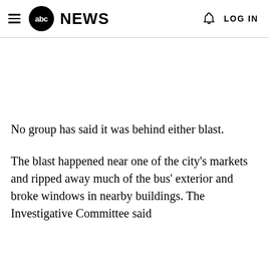abc NEWS  LOG IN
No group has said it was behind either blast.
The blast happened near one of the city's markets and ripped away much of the bus' exterior and broke windows in nearby buildings. The Investigative Committee said